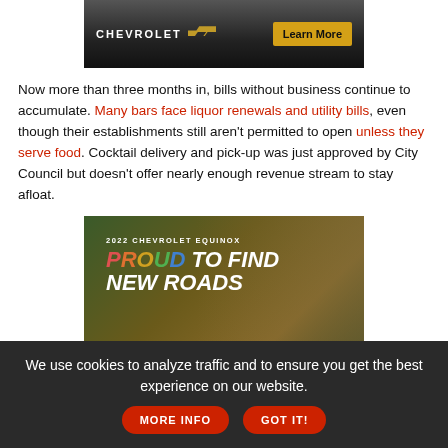[Figure (advertisement): Chevrolet advertisement banner with dark background, Chevrolet logo and bowtie emblem on the left, and a gold 'Learn More' button on the right.]
Now more than three months in, bills without business continue to accumulate. Many bars face liquor renewals and utility bills, even though their establishments still aren't permitted to open unless they serve food. Cocktail delivery and pick-up was just approved by City Council but doesn't offer nearly enough revenue stream to stay afloat.
[Figure (advertisement): 2022 Chevrolet Equinox advertisement with text 'PROUD TO FIND NEW ROADS' over a scenic outdoor background with trees and a house.]
We use cookies to analyze traffic and to ensure you get the best experience on our website. MORE INFO GOT IT!